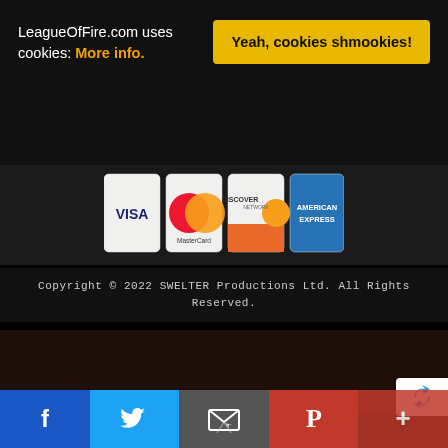LeagueOfFire.com uses cookies: More info.
Yeah, cookies shmookies!
[Figure (other): Payment card logos: VISA, MasterCard, Discover Network, American Express]
Copyright © 2022 SWELTER Productions Ltd. All Rights Reserved.
[Figure (other): Dark brown leather-textured background area]
[Figure (logo): reCAPTCHA badge logo]
[Figure (other): Social sharing bar with Facebook, Twitter, Email, Pinterest, and More buttons]